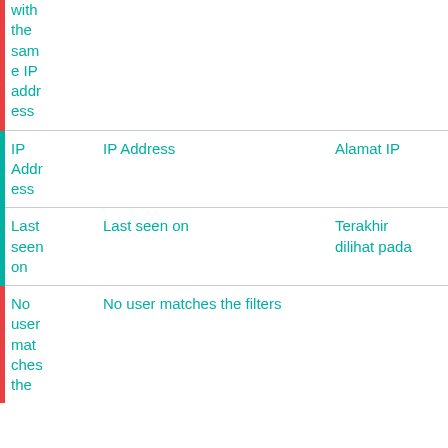| Key | English | Translation | Icons |
| --- | --- | --- | --- |
| with the same IP address |  |  |  |
| IP Address | IP Address | Alamat IP | copy/edit icons |
| Last seen on | Last seen on | Terakhir dilihat pada | copy/edit icons |
| No user matches the filters | No user matches the filters |  | copy/edit icons |